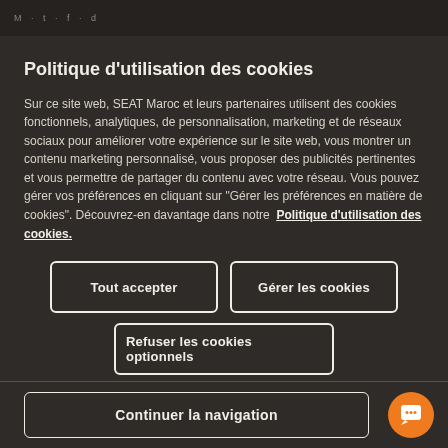M...t...f...d
Politique d'utilisation des cookies
Sur ce site web, SEAT Maroc et leurs partenaires utilisent des cookies fonctionnels, analytiques, de personnalisation, marketing et de réseaux sociaux pour améliorer votre expérience sur le site web, vous montrer un contenu marketing personnalisé, vous proposer des publicités pertinentes et vous permettre de partager du contenu avec votre réseau. Vous pouvez gérer vos préférences en cliquant sur "Gérer les préférences en matière de cookies". Découvrez-en davantage dans notre  Politique d'utilisation des cookies.
Tout accepter
Gérer les cookies
Refuser les cookies optionnels
Continuer la navigation